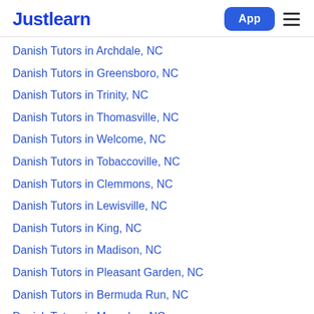Justlearn
Danish Tutors in Archdale, NC
Danish Tutors in Greensboro, NC
Danish Tutors in Trinity, NC
Danish Tutors in Thomasville, NC
Danish Tutors in Welcome, NC
Danish Tutors in Tobaccoville, NC
Danish Tutors in Clemmons, NC
Danish Tutors in Lewisville, NC
Danish Tutors in King, NC
Danish Tutors in Madison, NC
Danish Tutors in Pleasant Garden, NC
Danish Tutors in Bermuda Run, NC
Danish Tutors in Mayodan, NC
Danish Tutors in Danbury, NC
Danish Tutors in Advance, NC
Danish Tutors in Forest Oaks, NC